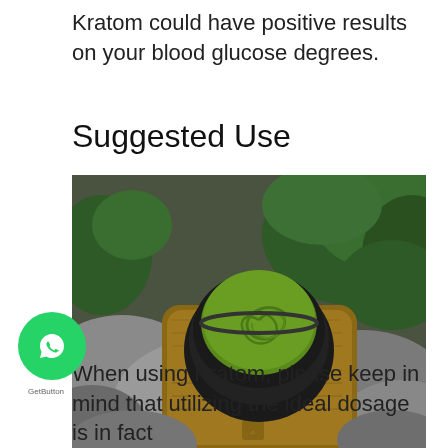Kratom could have positive results on your blood glucose degrees.
Suggested Use
[Figure (photo): A black ceramic bowl filled with green matcha/kratom powder drink placed on a wooden serving board, set on mossy rocks with green foliage in the background.]
When using Kratom, please keep in mind that utilizing the ideal dosage is in fact